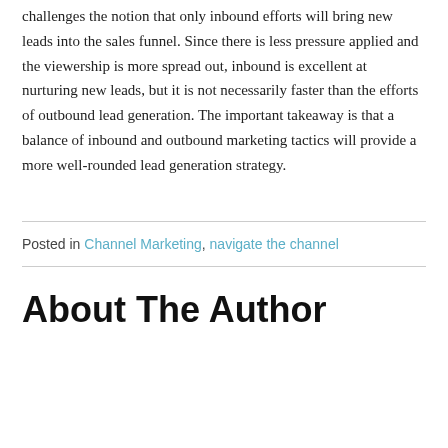challenges the notion that only inbound efforts will bring new leads into the sales funnel. Since there is less pressure applied and the viewership is more spread out, inbound is excellent at nurturing new leads, but it is not necessarily faster than the efforts of outbound lead generation. The important takeaway is that a balance of inbound and outbound marketing tactics will provide a more well-rounded lead generation strategy.
Posted in Channel Marketing, navigate the channel
About The Author